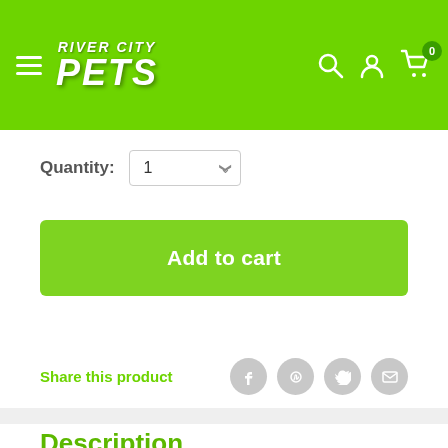[Figure (logo): River City Pets logo with animals, on green header bar with hamburger menu, search icon, account icon, and cart icon with badge 0]
Quantity: 1
Add to cart
Share this product
Description
LickiMat Felix - Perfect for wet and dry foods!